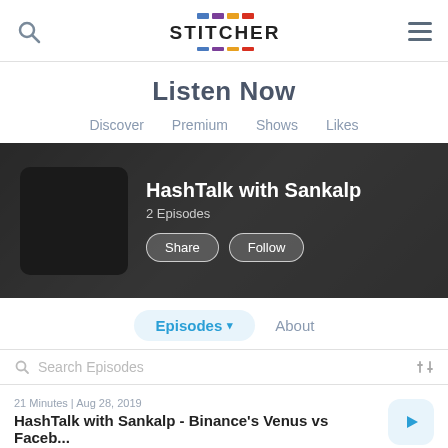Stitcher — Listen Now
Listen Now
Discover
Premium
Shows
Likes
[Figure (screenshot): HashTalk with Sankalp podcast banner with thumbnail, 2 Episodes, Share and Follow buttons on dark background]
Episodes ▾
About
Search Episodes
21 Minutes | Aug 28, 2019
HashTalk with Sankalp - Binance's Venus vs Faceb...
10 Minutes | Aug 27, 2019
HashTalk with Sankalp - Currency Wars - What's in